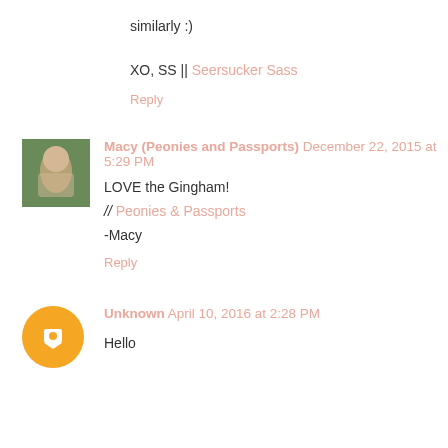similarly :)
XO, SS || Seersucker Sass
Reply
Macy (Peonies and Passports) December 22, 2015 at 5:29 PM
LOVE the Gingham!
// Peonies & Passports
-Macy
Reply
Unknown April 10, 2016 at 2:28 PM
Hello